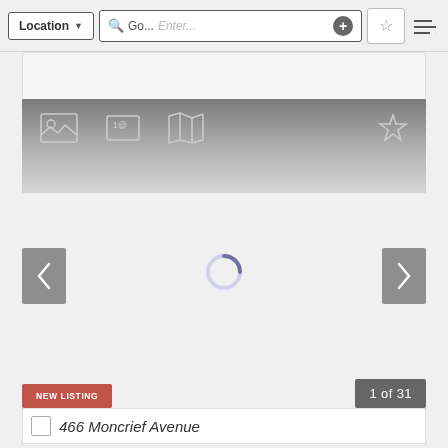[Figure (screenshot): Top toolbar with Location dropdown, search box showing 'Go...' and 'Enter...' placeholder, plus button, star/bookmark icon, and sort icon]
[Figure (screenshot): Gray gradient listing card header with photo icon, contact card icon, map icon, and star/favorite icon]
[Figure (screenshot): Left navigation arrow button (previous)]
[Figure (screenshot): Loading spinner in center of listing card area]
[Figure (screenshot): Right navigation arrow button (next)]
NEW LISTING
1 of 31
466 Moncrief Avenue